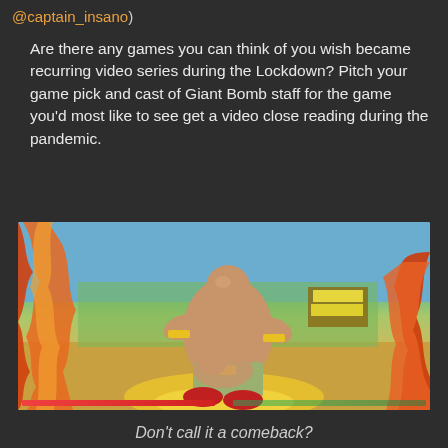@captain_insano)
Are there any games you can think of you wish became recurring video series during the Lockdown? Pitch your game pick and cast of Giant Bomb staff for the game you'd most like to see get a video close reading during the pandemic.
[Figure (screenshot): Screenshot from a fighting game (Street Fighter V) showing Zangief performing a wrestling move on another character, with dramatic fire/energy effects on the sides of the screen, colorful arena background with tropical setting]
Don't call it a comeback?